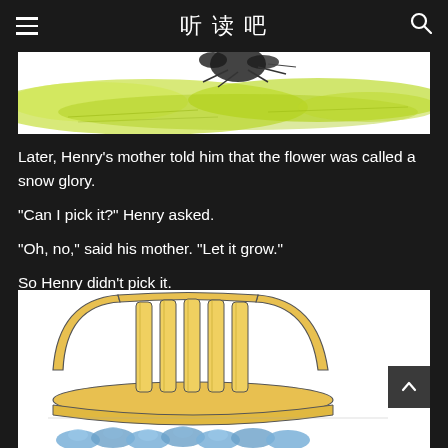听读吧
[Figure (illustration): Partial illustration showing a green watercolor background with dark shapes at the top, appearing to be part of a children's book illustration.]
Later, Henry's mother told him that the flower was called a snow glory.
"Can I pick it?" Henry asked.
"Oh, no," said his mother. "Let it grow."
So Henry didn't pick it.
[Figure (illustration): Children's book illustration showing a yellow wooden chair with vertical slats, and blue flowers at the bottom, drawn in a watercolor/sketch style.]